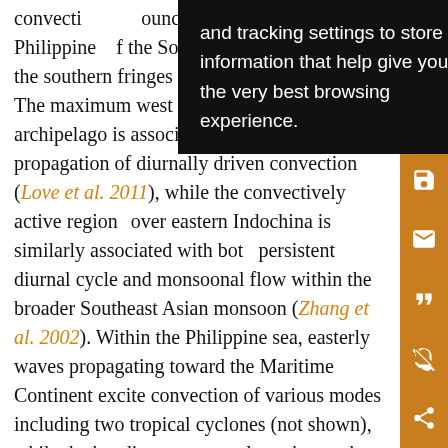convecti... and tracking settings to store information that help give you the very best browsing experience. ...ounced of which a... Philippines... f the South Chi... o within the... the southern fringes of the South China Sea. The maximum west of the Philippines archipelago is associated with the offshore propagation of diurnally driven convection (Love et al. 2011), while the convectively active region over eastern Indochina is similarly associated with both persistent diurnal cycle and monsoonal flow within the broader Southeast Asian monsoon (Zhang et al. 2002). Within the Philippine sea, easterly waves propagating toward the Maritime Continent excite convection of various modes including two tropical cyclones (not shown), while the banding structure along the southern periphery of the South China Sea results from a tail of
[Figure (screenshot): Black tooltip overlay with white text reading: 'and tracking settings to store information that help give you the very best browsing experience.']